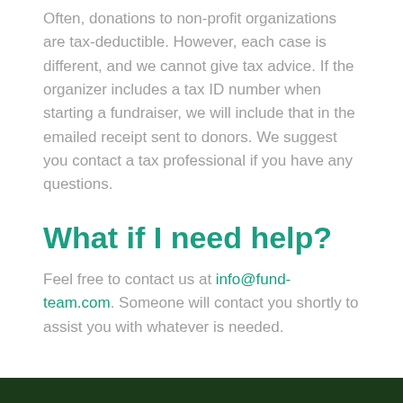Often, donations to non-profit organizations are tax-deductible. However, each case is different, and we cannot give tax advice. If the organizer includes a tax ID number when starting a fundraiser, we will include that in the emailed receipt sent to donors. We suggest you contact a tax professional if you have any questions.
What if I need help?
Feel free to contact us at info@fund-team.com. Someone will contact you shortly to assist you with whatever is needed.